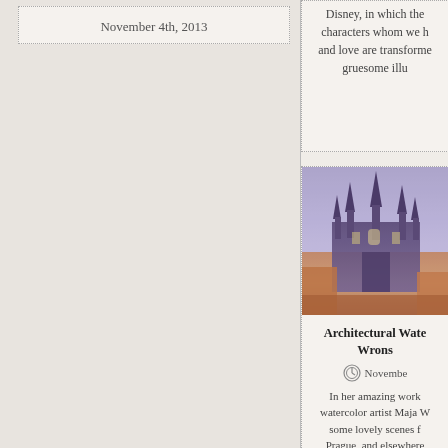November 4th, 2013
Disney, in which the characters whom we h and love are transforme gruesome illu
[Figure (photo): Architectural watercolor painting of a gothic cathedral with tall spires, likely Prague's Church of Our Lady before Týn, with warm orange/red tones in the lower portion]
Architectural Wate Wrons
Novembe
In her amazing work watercolor artist Maja W some lovely scenes f Prague, and elsewhere work over on DeviantA ours) Via my de